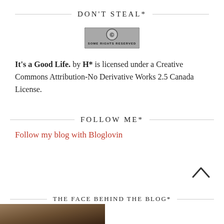DON'T STEAL*
[Figure (logo): Creative Commons 'Some Rights Reserved' badge — grey rounded rectangle with CC circle logo and text SOME RIGHTS RESERVED]
It's a Good Life. by H* is licensed under a Creative Commons Attribution-No Derivative Works 2.5 Canada License.
FOLLOW ME*
Follow my blog with Bloglovin
THE FACE BEHIND THE BLOG*
[Figure (photo): Partial photo of a person's face, cropped at bottom of page]